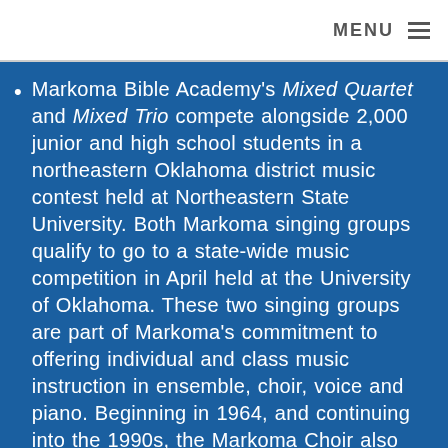MENU ≡
Markoma Bible Academy's Mixed Quartet and Mixed Trio compete alongside 2,000 junior and high school students in a northeastern Oklahoma district music contest held at Northeastern State University. Both Markoma singing groups qualify to go to a state-wide music competition in April held at the University of Oklahoma. These two singing groups are part of Markoma's commitment to offering individual and class music instruction in ensemble, choir, voice and piano. Beginning in 1964, and continuing into the 1990s, the Markoma Choir also traveled throughout the Midwest and South Central U.S.,